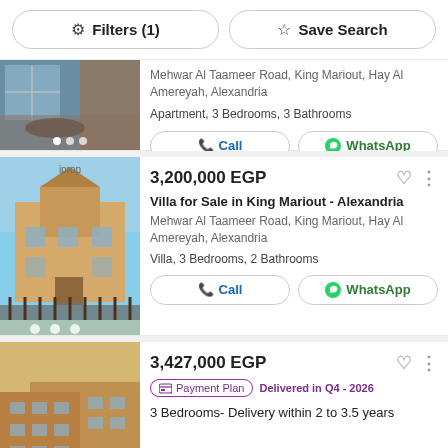Filters (1)   Save Search
[Figure (photo): Partial apartment listing photo showing an interior room with furniture]
Mehwar Al Taameer Road, King Mariout, Hay Al Amereyah, Alexandria
Apartment, 3 Bedrooms, 3 Bathrooms
Call   WhatsApp
3,200,000 EGP
Villa for Sale in King Mariout - Alexandria
Mehwar Al Taameer Road, King Mariout, Hay Al Amereyah, Alexandria
Villa, 3 Bedrooms, 2 Bathrooms
Call   WhatsApp
3,427,000 EGP
Payment Plan   Delivered in Q4 - 2026
3 Bedrooms- Delivery within 2 to 3.5 years